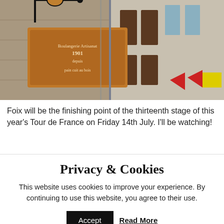[Figure (photo): Photograph of a French bakery (boulangerie) sign on a stone building facade, with wooden shutters visible. The decorative ironwork sign reads 'Boulangerie Artisanat depuis 1901, pain cuit au bois'. Colourful bunting flags (red, yellow) hang in the background.]
Foix will be the finishing point of the thirteenth stage of this year's Tour de France on Friday 14th July. I'll be watching!
Privacy & Cookies
This website uses cookies to improve your experience. By continuing to use this website, you agree to their use.